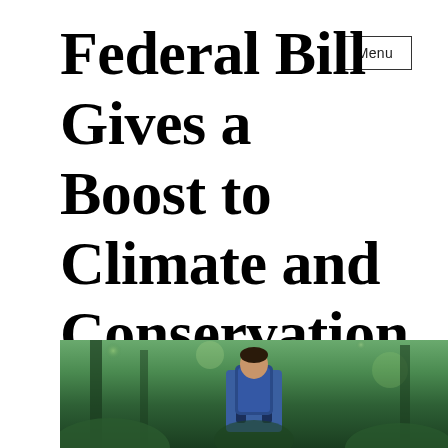Menu
Federal Bill Gives a Boost to Climate and Conservation
[Figure (photo): Person wearing a blue backpack standing in a forest with green foliage in the background]